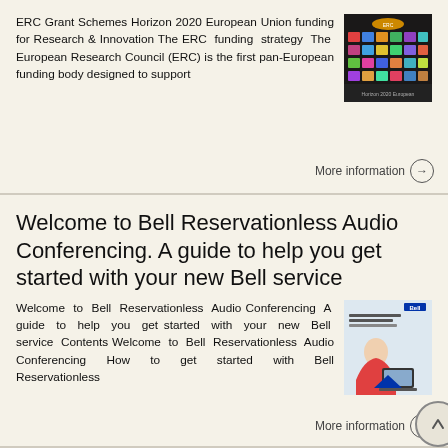ERC Grant Schemes Horizon 2020 European Union funding for Research & Innovation The ERC funding strategy The European Research Council (ERC) is the first pan-European funding body designed to support
[Figure (photo): Dark thumbnail image showing colorful document covers related to ERC/Horizon 2020]
More information →
Welcome to Bell Reservationless Audio Conferencing. A guide to help you get started with your new Bell service
Welcome to Bell Reservationless Audio Conferencing A guide to help you get started with your new Bell service Contents Welcome to Bell Reservationless Audio Conferencing How to get started with Bell Reservationless
[Figure (photo): Photo of a person using a laptop with a Bell service branding thumbnail]
More information →